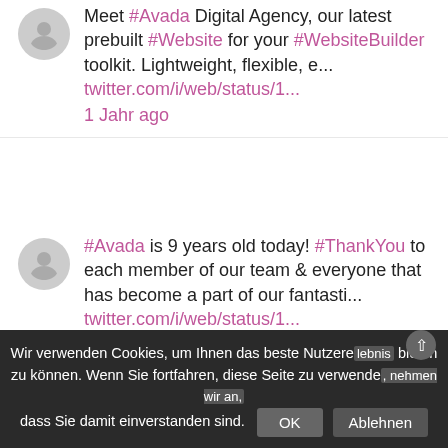Meet #Avada Digital Agency, our latest prebuilt #Website for your #WebsiteBuilder toolkit. Lightweight, flexible, e... twitter.com/i/web/status/1... 1 Jahr ago
#Avada is 9 years old today! #ThankYou to each member of our team & everyone that has become a part of our fantasti... twitter.com/i/web/status/1... 1 Jahr ago
To enhance your #Avada website's performance, enable Critical CSS. This powerful option is ideal for faster above t... twitter.com/i/web/status/1... 1 Jahr ago
Wir verwenden Cookies, um Ihnen das beste Nutzererlebnis bieten zu können. Wenn Sie fortfahren, diese Seite zu verwenden, nehmen wir an, dass Sie damit einverstanden sind. OK Ablehnen